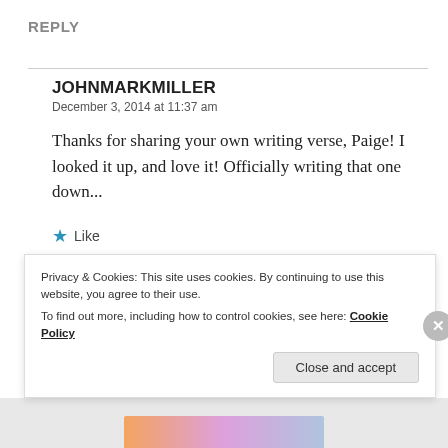REPLY
JOHNMARKMILLER
December 3, 2014 at 11:37 am

Thanks for sharing your own writing verse, Paige! I looked it up, and love it! Officially writing that one down...
★ Like
Privacy & Cookies: This site uses cookies. By continuing to use this website, you agree to their use.
To find out more, including how to control cookies, see here: Cookie Policy
Close and accept